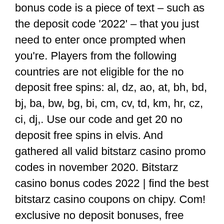bonus code is a piece of text – such as the deposit code '2022' – that you just need to enter once prompted when you're. Players from the following countries are not eligible for the no deposit free spins: al, dz, ao, at, bh, bd, bj, ba, bw, bg, bi, cm, cv, td, km, hr, cz, ci, dj,. Use our code and get 20 no deposit free spins in elvis. And gathered all valid bitstarz casino promo codes in november 2020. Bitstarz casino bonus codes 2022 | find the best bitstarz casino coupons on chipy. Com! exclusive no deposit bonuses, free spins, and more! Bitstarz casino bonus code 2022. Make your way to bitstarz right now and collect your complimentary 20 welcome free spins! absolutely no deposit is required Best no deposit bonuses. Online casinos tailor their bonuses to match the interests of the customers they want to attract to their platform. It's why the game. Review updated apr 08, 2022 ✓ 30 no deposit free spins on